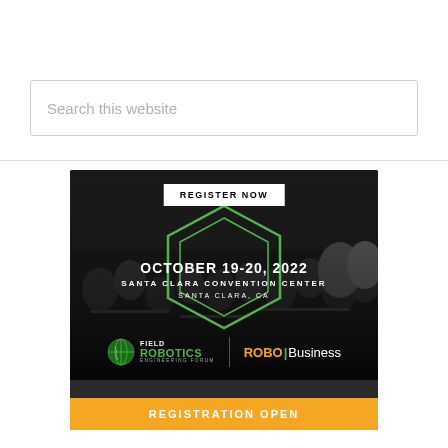Search this website
[Figure (infographic): Advertisement banner for Field Robotics Engineering Forum and RoboBusiness event. Shows audience in background, hexagon graphic, text: REGISTER NOW, OCTOBER 19-20, 2022, SANTA CLARA CONVENTION CENTER, SANTA CLARA, CA. Logos for Field Robotics Engineering Forum and RoboBusiness at bottom. Orange bar with REGISTRATION OPEN.]